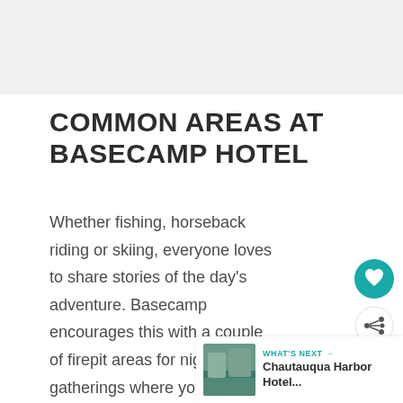COMMON AREAS AT BASECAMP HOTEL
Whether fishing, horseback riding or skiing, everyone loves to share stories of the day’s adventure. Basecamp encourages this with a couple of firepit areas for nighttime gatherings where you can roast marshmallows (ingredients for s’mores are sold in the lobby).
[Figure (other): Circular teal heart/favourite button icon]
[Figure (other): Circular white share button icon]
[Figure (photo): Thumbnail photo of waterfront/cliffs scene for Chautauqua Harbor Hotel next article teaser]